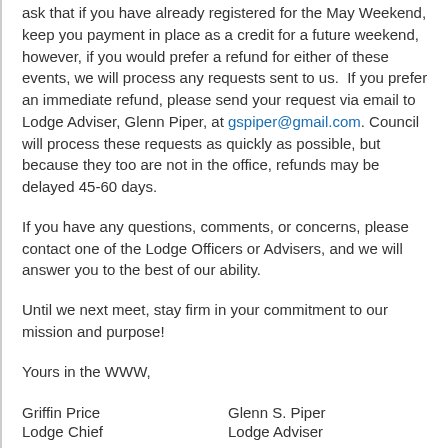ask that if you have already registered for the May Weekend, keep you payment in place as a credit for a future weekend, however, if you would prefer a refund for either of these events, we will process any requests sent to us.  If you prefer an immediate refund, please send your request via email to Lodge Adviser, Glenn Piper, at gspiper@gmail.com. Council will process these requests as quickly as possible, but because they too are not in the office, refunds may be delayed 45-60 days.
If you have any questions, comments, or concerns, please contact one of the Lodge Officers or Advisers, and we will answer you to the best of our ability.
Until we next meet, stay firm in your commitment to our mission and purpose!
Yours in the WWW,
Griffin Price                    Glenn S. Piper
Lodge Chief                    Lodge Adviser